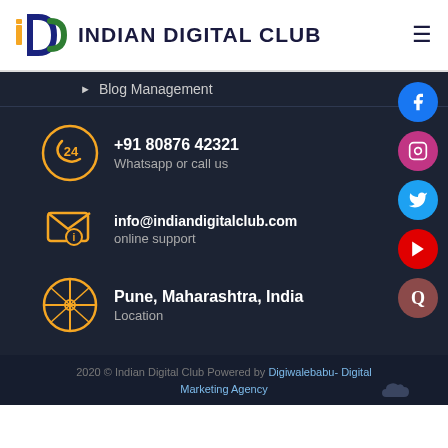INDIAN DIGITAL CLUB
Blog Management
+91 80876 42321
Whatsapp or call us
info@indiandigitalclub.com
online support
Pune, Maharashtra, India
Location
2020 © Indian Digital Club Powered by Digiwalebabu- Digital Marketing Agency